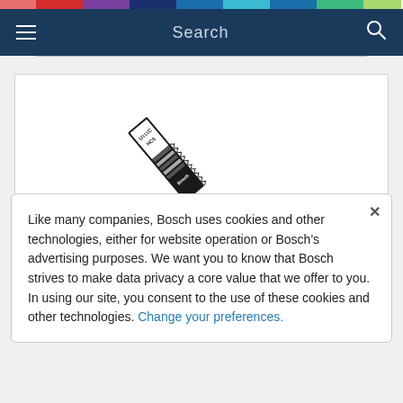[Figure (other): Colorful horizontal bar with segments: red/pink, dark red, purple, dark blue/navy, teal/cyan, blue, green/lime]
Search
[Figure (photo): Bosch U111C HCS jigsaw blade shown diagonally, black and white, with label text visible]
Like many companies, Bosch uses cookies and other technologies, either for website operation or Bosch's advertising purposes. We want you to know that Bosch strives to make data privacy a core value that we offer to you. In using our site, you consent to the use of these cookies and other technologies. Change your preferences.